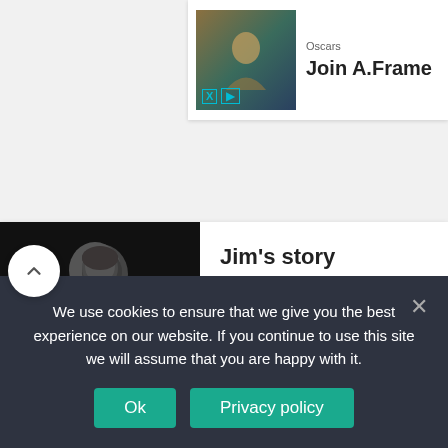[Figure (screenshot): Advertisement thumbnail with golden-green tinted image, X and play icons, labeled Oscars with text Join A.Frame]
Oscars
Join A.Frame
[Figure (photo): Black and white photo of a person with hand on chest]
Jim's story
October 10, 2018
We use cookies to ensure that we give you the best experience on our website. If you continue to use this site we will assume that you are happy with it.
Ok
Privacy policy